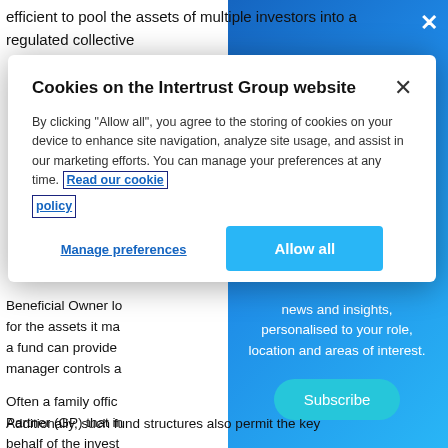efficient to pool the assets of multiple investors into a regulated collective
Cookies on the Intertrust Group website
By clicking "Allow all", you agree to the storing of cookies on your device to enhance site navigation, analyze site usage, and assist in our marketing efforts. You can manage your preferences at any time. Read our cookie policy
Manage preferences
Allow all
Beneficial Owner lo for the assets it ma a fund can provide manager controls a
news and insights, personalised to your role, location and areas of interest.
Subscribe
Often a family offic Partner (GP) that in behalf of the invest Additionally, such fund structures also permit the key